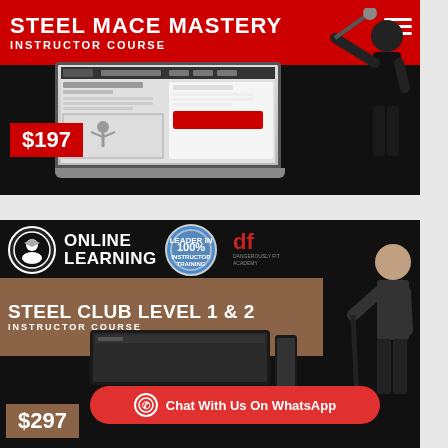[Figure (screenshot): Steel Mace Mastery Instructor Course promotional banner. Red header with white bold text 'STEEL MACE MASTERY INSTRUCTOR COURSE', price tag '$197' in red, laptop showing course website, athlete holding steel mace.]
[Figure (screenshot): Online Learning banner with Steel Club Level 1 & 2 Instructor Course promo. Shows Online Learning logo, 100% guarantee badge, Dangerously Fit Academy logo, brown bar with white text 'STEEL CLUB LEVEL 1 & 2 INSTRUCTOR COURSE', price '$297', person holding steel club, laptop/tablet mockup, red WhatsApp button 'Chat With Us On WhatsApp'.]
Chat With Us On WhatsApp